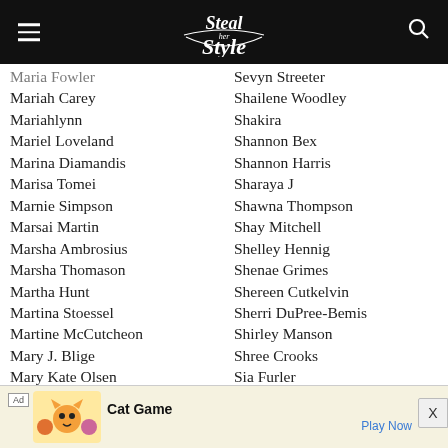Steal Her Style
Maria Fowler
Mariah Carey
Mariahlynn
Mariel Loveland
Marina Diamandis
Marisa Tomei
Marnie Simpson
Marsai Martin
Marsha Ambrosius
Marsha Thomason
Martha Hunt
Martina Stoessel
Martine McCutcheon
Mary J. Blige
Mary Kate Olsen
Mary Lambert
Marzia Bisognin
Masika Kalysha
Maude Apatow
Maya Ahmad
Sevyn Streeter
Shailene Woodley
Shakira
Shannon Bex
Shannon Harris
Sharaya J
Shawna Thompson
Shay Mitchell
Shelley Hennig
Shenae Grimes
Shereen Cutkelvin
Sherri DuPree-Bemis
Shirley Manson
Shree Crooks
Sia Furler
Sienna Miller
Sierra Furtado
Sierra Kusterbeck
Sierra McClain
[Figure (screenshot): Cat Game advertisement banner with cartoon cat characters]